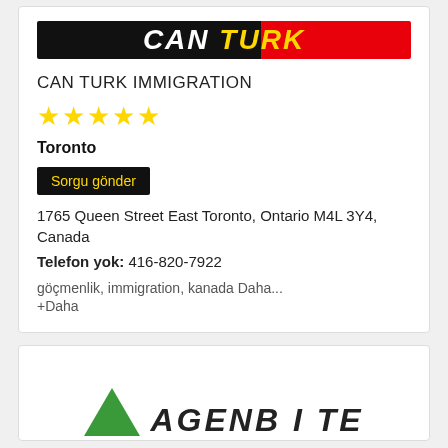[Figure (logo): Can Turk logo with black and red background, stylized text]
CAN TURK IMMIGRATION
[Figure (infographic): Five yellow star rating]
Toronto
Sorgu gönder
1765 Queen Street East Toronto, Ontario M4L 3Y4, Canada
Telefon yok: 416-820-7922
göçmenlik, immigration, kanada Daha...
+Daha
[Figure (logo): Second company logo with green triangle and bold text partially visible]